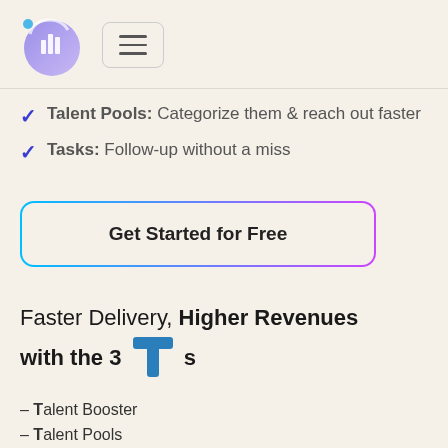[Figure (logo): Circular gradient logo with bar chart icon and blue dot, next to hamburger menu button]
Talent Pools: Categorize them & reach out faster
Tasks: Follow-up without a miss
Get Started for Free
Faster Delivery, Higher Revenues with the 3 T s
- Talent Booster
- Talent Pools